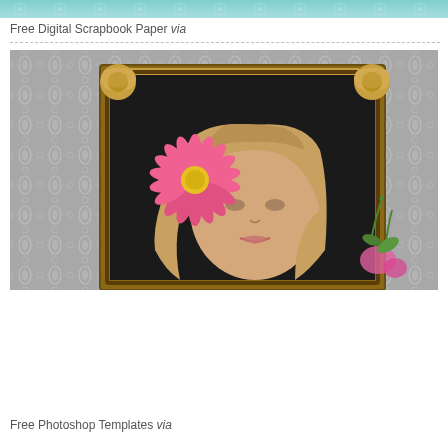Free Digital Scrapbook Paper via
[Figure (photo): Photo of a blonde woman with a pink gerbera daisy flower in her hair, shown inside an ornate golden-brown wooden picture frame, against a grey damask wallpaper background with flowers in the lower right corner.]
Free Photoshop Templates via